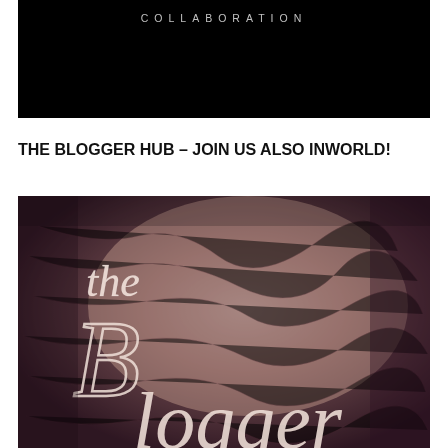[Figure (illustration): Black background image with 'COLLABORATION' text in spaced grey/white letters at the top]
THE BLOGGER HUB – JOIN US ALSO INWORLD!
[Figure (illustration): Dark antique map background with cursive script text reading 'The Blogger' in white/cream letters on a purplish-brown vintage map texture]